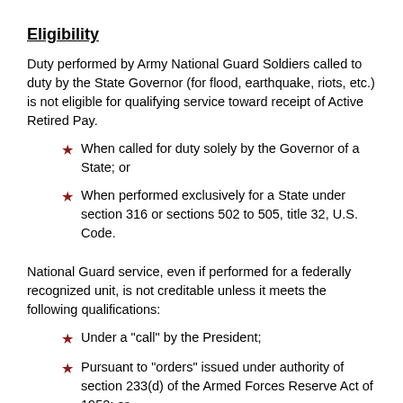Eligibility
Duty performed by Army National Guard Soldiers called to duty by the State Governor (for flood, earthquake, riots, etc.) is not eligible for qualifying service toward receipt of Active Retired Pay.
When called for duty solely by the Governor of a State; or
When performed exclusively for a State under section 316 or sections 502 to 505, title 32, U.S. Code.
National Guard service, even if performed for a federally recognized unit, is not creditable unless it meets the following qualifications:
Under a "call" by the President;
Pursuant to "orders" issued under authority of section 233(d) of the Armed Forces Reserve Act of 1952; or
Pursuant to "orders" issued under authority of a provision of title 10 of the U.S. Code.